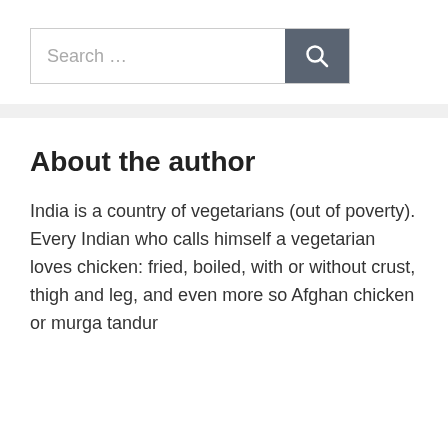[Figure (screenshot): Search bar with text input field reading 'Search …' and a dark grey search button with a magnifying glass icon]
About the author
India is a country of vegetarians (out of poverty). Every Indian who calls himself a vegetarian loves chicken: fried, boiled, with or without crust, thigh and leg, and even more so Afghan chicken or murga tandur